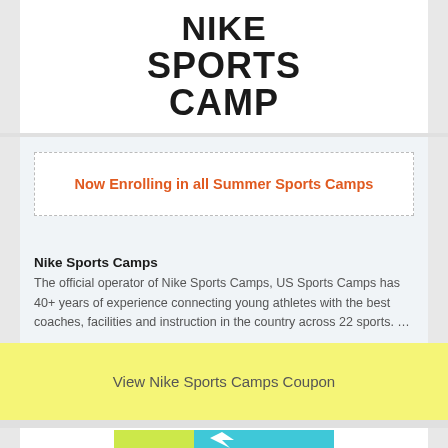[Figure (logo): Nike Sports Camp logo in bold black block letters on white background]
Now Enrolling in all Summer Sports Camps
Nike Sports Camps
The official operator of Nike Sports Camps, US Sports Camps has 40+ years of experience connecting young athletes with the best coaches, facilities and instruction in the country across 22 sports. …
View Nike Sports Camps Coupon
[Figure (logo): Partial view of another logo at bottom of page with yellow-green and teal/blue colors]